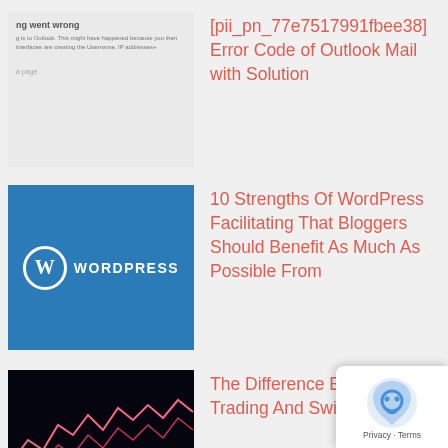[Figure (screenshot): Outlook error screenshot thumbnail showing 'ng went wrong' text]
[pii_pn_77e7517991fbee38] Error Code of Outlook Mail with Solution
[Figure (logo): WordPress logo on blue background]
10 Strengths Of WordPress Facilitating That Bloggers Should Benefit As Much As Possible From
[Figure (photo): Dark trading chart with red/pink candlestick lines and cyan bar chart on dark background]
The Difference Between Day Trading And Swing Trading
[Figure (photo): Broken/loading image for Top Advantages Of Having Your Clothes Custom Tailored]
Top Advantages Of Having Your Clothes Custom Tailored